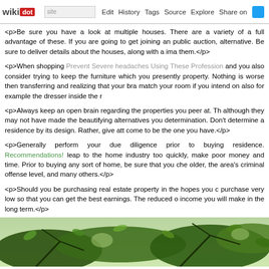wikidot | site | Edit | History | Tags | Source | Explore | Share on
<p>Be sure you have a look at multiple houses. There are a variety of a full advantage of these. If you are going to get joining an public auction, alternative. Be sure to deliver details about the houses, along with a ima them.</p>
<p>When shopping Prevent Severe headaches Using These Profession and you also consider trying to keep the furniture which you presently property. Nothing is worse then transferring and realizing that your bra match your room if you intend on also for example the dresser inside the r</p>
<p>Always keep an open brain regarding the properties you peer at. Th although they may not have made the beautifying alternatives you determination. Don't determine a residence by its design. Rather, give att come to be the one you have.</p>
<p>Generally perform your due diligence prior to buying residence. Recommendations! leap to the home industry too quickly, make poor money and time. Prior to buying any sort of home, be sure that you che older, the area's criminal offense level, and many others.</p>
<p>Should you be purchasing real estate property in the hopes you c purchase very low so that you can get the best earnings. The reduced o income you will make in the long term.</p>
[Figure (photo): Photo of tree branches with green leaves against a bright background]